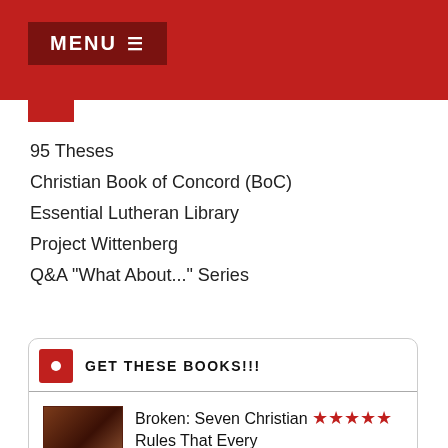MENU ≡
95 Theses
Christian Book of Concord (BoC)
Essential Lutheran Library
Project Wittenberg
Q&A "What About..." Series
GET THESE BOOKS!!!
Broken: Seven Christian Rules That Every Christian Ought to Break as Often as Possible ★★★★★
by Jonathan Fisk
A must read for ALL Christians!
tagged: currently-reading